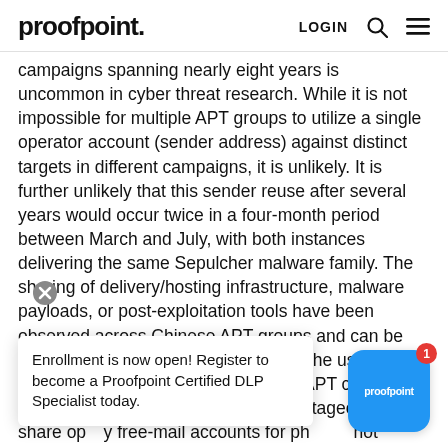proofpoint. LOGIN
campaigns spanning nearly eight years is uncommon in cyber threat research. While it is not impossible for multiple APT groups to utilize a single operator account (sender address) against distinct targets in different campaigns, it is unlikely. It is further unlikely that this sender reuse after several years would occur twice in a four-month period between March and July, with both instances delivering the same Sepulcher malware family. The sharing of delivery/hosting infrastructure, malware payloads, or post-exploitation tools have been observed across Chinese APT groups and can be considered more common. However, the use of operator accounts spanning multiple APT campaigns is much less common. It is less advantageous to share op...y free-mail accounts for ph... not represent a co... t increases the likelihood of detection by targeted
Enrollment is now open! Register to become a Proofpoint Certified DLP Specialist today.